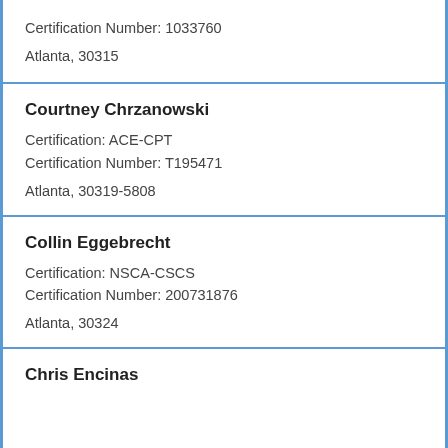Certification Number: 1033760
Atlanta, 30315
Courtney Chrzanowski
Certification: ACE-CPT
Certification Number: T195471
Atlanta, 30319-5808
Collin Eggebrecht
Certification: NSCA-CSCS
Certification Number: 200731876
Atlanta, 30324
Chris Encinas